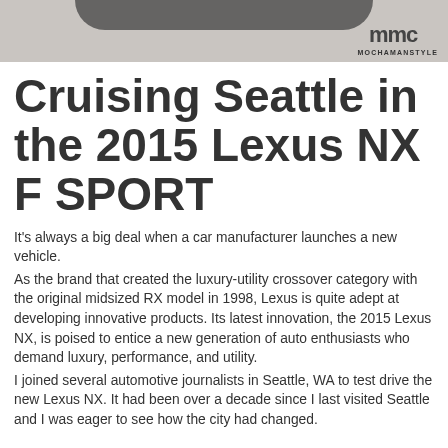[Figure (photo): Top portion of a car photo with grey/carpeted surface visible, cropped at top of page. MochaManStyle logo visible in top right corner.]
Cruising Seattle in the 2015 Lexus NX F SPORT
It's always a big deal when a car manufacturer launches a new vehicle.
As the brand that created the luxury-utility crossover category with the original midsized RX model in 1998, Lexus is quite adept at developing innovative products. Its latest innovation, the 2015 Lexus NX, is poised to entice a new generation of auto enthusiasts who demand luxury, performance, and utility.
I joined several automotive journalists in Seattle, WA to test drive the new Lexus NX. It had been over a decade since I last visited Seattle and I was eager to see how the city had changed.